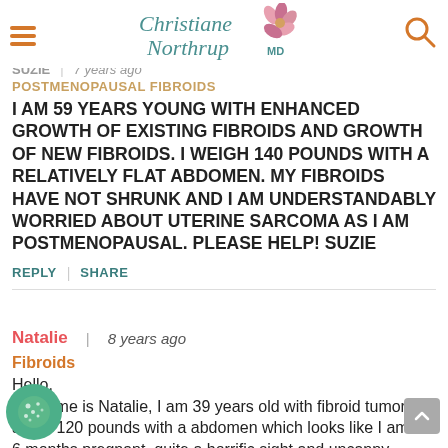Christiane Northrup MD
SUZIE | 7 years ago
POSTMENOPAUSAL FIBROIDS
I AM 59 YEARS YOUNG WITH ENHANCED GROWTH OF EXISTING FIBROIDS AND GROWTH OF NEW FIBROIDS. I WEIGH 140 POUNDS WITH A RELATIVELY FLAT ABDOMEN. MY FIBROIDS HAVE NOT SHRUNK AND I AM UNDERSTANDABLY WORRIED ABOUT UTERINE SARCOMA AS I AM POSTMENOPAUSAL. PLEASE HELP! SUZIE
REPLY | SHARE
Natalie | 8 years ago
Fibroids
Hello,
 my name is Natalie, I am 39 years old with fibroid tumors. I about 120 pounds with a abdomen which looks like I am 6 months pregnant, quite a horrific sight and uncanny